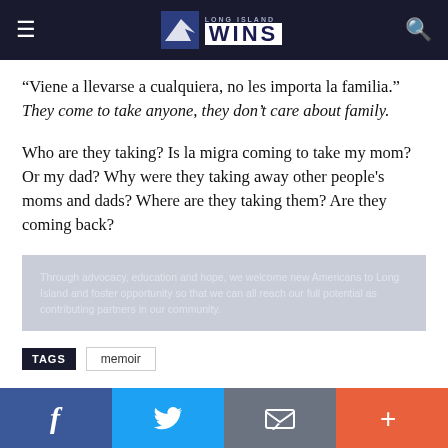Long Island WINS
“Viene a llevarse a cualquiera, no les importa la familia.” They come to take anyone, they don’t care about family.
Who are they taking? Is la migra coming to take my mom? Or my dad? Why were they taking away other people’s moms and dads? Where are they taking them? Are they coming back?
Through advocacy, education and hope, we welcome new Americans to Long Island and foster opportunity so that we can all reach our full potential as contributing partners in our community.
TAGS  memoir
Facebook  Twitter  Email  Plus